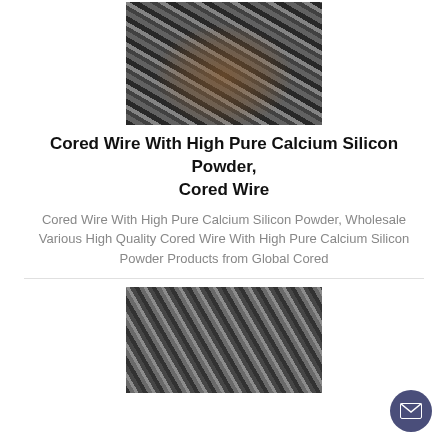[Figure (photo): Dark gravel/mineral chunks with a rusty orange pipe visible underneath, top product image]
Cored Wire With High Pure Calcium Silicon Powder, Cored Wire
Cored Wire With High Pure Calcium Silicon Powder, Wholesale Various High Quality Cored Wire With High Pure Calcium Silicon Powder Products from Global Cored
[Figure (photo): Close-up of dark metallic powder/granules, bottom product image]